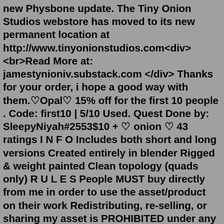new Physbone update. The Tiny Onion Studios webstore has moved to its new permanent location at http://www.tinyonionstudios.com<div> <br>Read More at: jamestynioniv.substack.com </div> Thanks for your order, i hope a good way with them.♡Opal♡ 15% off for the first 10 people . Code: first10 | 5/10 Used. Quest Done by: SleepyNiyah#2553$10 + ♡ onion ♡ 43 ratings I N F O Includes both short and long versions Created entirely in blender Rigged & weight painted Clean topology (quads only) R U L E S People MUST buy directly from me in order to use the asset/product on their work Redistributing, re-selling, or sharing my asset is PROHIBITED under any circumstancesPLEASE RATE <33. 2 skirts! One has a thinner waistline, and the other is thicker! ~1,536 Tris. ~Fits to onions base (her base is not included) ~Not Weight Painted nor Unwrapped just the meshes. A link to onions base ~ onion's female base v.2 ( gumroad.com)Can be used on free models. Not allowed on leaked models, I will take action if need be. Credit me! ( Onion#1515 ) Commercial use is